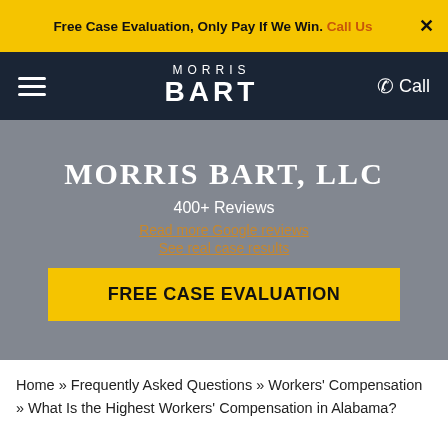Free Case Evaluation, Only Pay If We Win. Call Us ✕
[Figure (logo): Morris Bart law firm logo with hamburger menu and Call link in dark navy navigation bar]
MORRIS BART, LLC
400+ Reviews
Read more Google reviews
See real case results
FREE CASE EVALUATION
Home » Frequently Asked Questions » Workers' Compensation » What Is the Highest Workers' Compensation in Alabama?